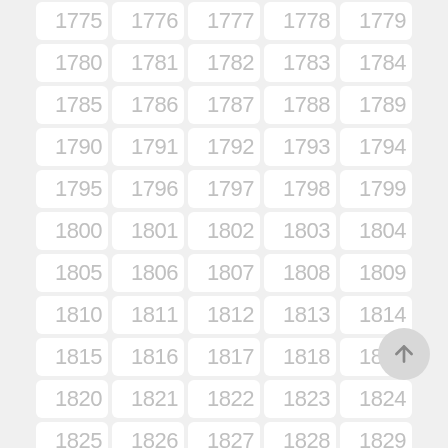[Figure (other): Grid of year number cells from 1775 to 1829 arranged in rows of 5, each in a rounded white tile on a light grey background. An up-arrow circular button is visible in the lower right area.]